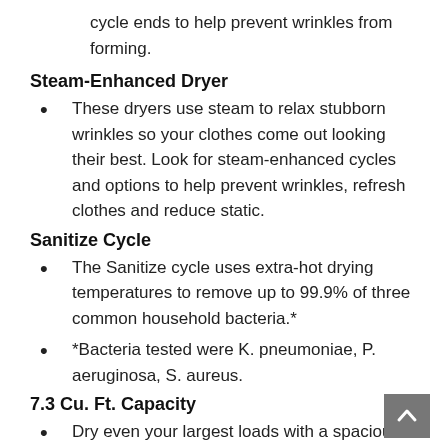cycle ends to help prevent wrinkles from forming.
Steam-Enhanced Dryer
These dryers use steam to relax stubborn wrinkles so your clothes come out looking their best. Look for steam-enhanced cycles and options to help prevent wrinkles, refresh clothes and reduce static.
Sanitize Cycle
The Sanitize cycle uses extra-hot drying temperatures to remove up to 99.9% of three common household bacteria.*
*Bacteria tested were K. pneumoniae, P. aeruginosa, S. aureus.
7.3 Cu. Ft. Capacity
Dry even your largest loads with a spacious 7.3 cu. ft. capacity.
Wrinkle Control Cycle